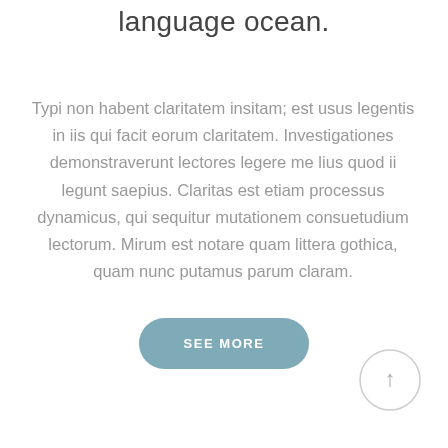language ocean.
Typi non habent claritatem insitam; est usus legentis in iis qui facit eorum claritatem. Investigationes demonstraverunt lectores legere me lius quod ii legunt saepius. Claritas est etiam processus dynamicus, qui sequitur mutationem consuetudium lectorum. Mirum est notare quam littera gothica, quam nunc putamus parum claram.
SEE MORE
[Figure (illustration): A circular button with an upward arrow icon, indicating scroll-to-top functionality]